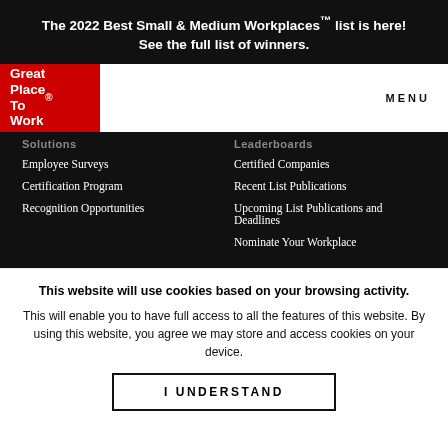The 2022 Best Small & Medium Workplaces™ list is here!
See the full list of winners.
[Figure (logo): Great Place To Work logo in white text on red background]
MENU
Solutions
Leaderboards
Employee Surveys
Certified Companies
Certification Program
Recent List Publications
Recognition Opportunities
Upcoming List Publications and Deadlines
Nominate Your Workplace
This website will use cookies based on your browsing activity.
This will enable you to have full access to all the features of this website. By using this website, you agree we may store and access cookies on your device.
I UNDERSTAND